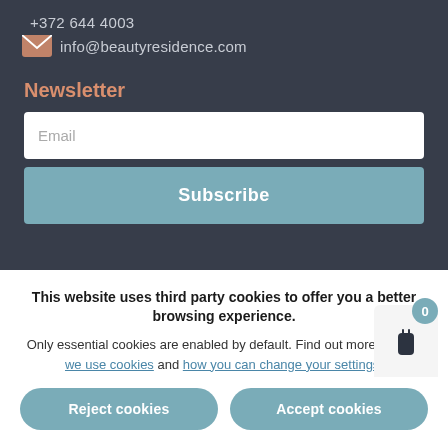+372 644 4003
info@beautyresidence.com
Newsletter
Email
Subscribe
Privacy policy
Terms & conditions
This website uses third party cookies to offer you a better browsing experience. Only essential cookies are enabled by default. Find out more on how we use cookies and how you can change your settings.
Reject cookies
Accept cookies